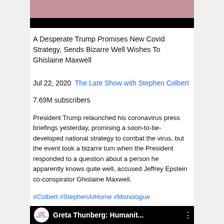[Figure (screenshot): Top portion of a YouTube video thumbnail showing a person in a pink shirt against a teal background, with a black bar below]
A Desperate Trump Promises New Covid Strategy, Sends Bizarre Well Wishes To Ghislaine Maxwell
Jul 22, 2020  The Late Show with Stephen Colbert
7.69M subscribers
President Trump relaunched his coronavirus press briefings yesterday, promising a soon-to-be-developed national strategy to combat the virus, but the event took a bizarre turn when the President responded to a question about a person he apparently knows quite well, accused Jeffrey Epstein co-conspirator Ghislaine Maxwell.
#Colbert #StephenAtHome #Monologue
[Figure (screenshot): Bottom YouTube video thumbnail showing the Late Show with Stephen Colbert logo and title 'Greta Thunberg: Humanit...' with three-dot menu icon]